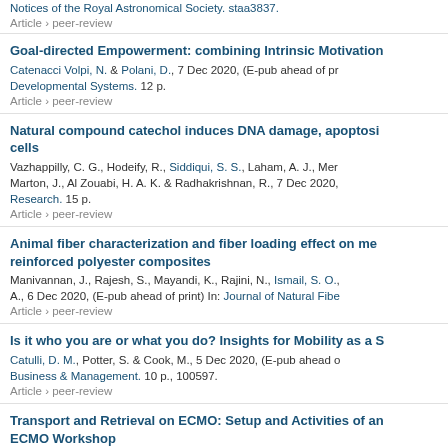Notices of the Royal Astronomical Society. staa3837.
Article › peer-review
Goal-directed Empowerment: combining Intrinsic Motivation...
Catenacci Volpi, N. & Polani, D., 7 Dec 2020, (E-pub ahead of print) In: Developmental Systems. 12 p.
Article › peer-review
Natural compound catechol induces DNA damage, apoptosis... cells
Vazhappilly, C. G., Hodeify, R., Siddiqui, S. S., Laham, A. J., Mer... Marton, J., Al Zouabi, H. A. K. & Radhakrishnan, R., 7 Dec 2020, ... Research. 15 p.
Article › peer-review
Animal fiber characterization and fiber loading effect on mec... reinforced polyester composites
Manivannan, J., Rajesh, S., Mayandi, K., Rajini, N., Ismail, S. O., ... A., 6 Dec 2020, (E-pub ahead of print) In: Journal of Natural Fibe...
Article › peer-review
Is it who you are or what you do? Insights for Mobility as a S...
Catulli, D. M., Potter, S. & Cook, M., 5 Dec 2020, (E-pub ahead o... Business & Management. 10 p., 100597.
Article › peer-review
Transport and Retrieval on ECMO: Setup and Activities of an... ECMO Workshop
Shehatta, A. & Alinier, G., 3 Dec 2020, (E-pub ahead of print) In: Anesthesia.
Article › peer-review
Effect of Chronic Kidney Disease on Metabolic Rate: Studies...
Vilar, E., Sridharan, S., Wong, J., Berdeprado, J. & Farrington, K.... of Renal Nutrition.
Article › peer-review